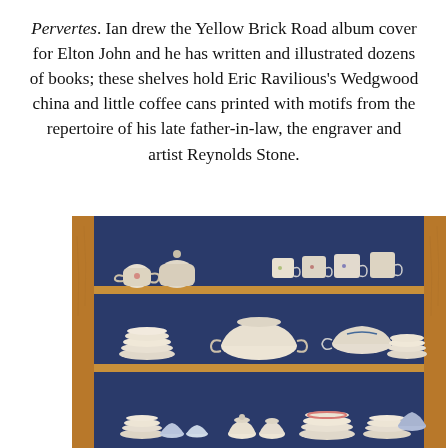Pervertes. Ian drew the Yellow Brick Road album cover for Elton John and he has written and illustrated dozens of books; these shelves hold Eric Ravilious's Wedgwood china and little coffee cans printed with motifs from the repertoire of his late father-in-law, the engraver and artist Reynolds Stone.
[Figure (photo): A wooden cabinet with blue painted interior, filled with china and crockery on three shelves. Top shelf has teapots and cups, middle shelf has stacked plates and serving dishes, bottom shelf has more stacked plates and small sugar bowls.]